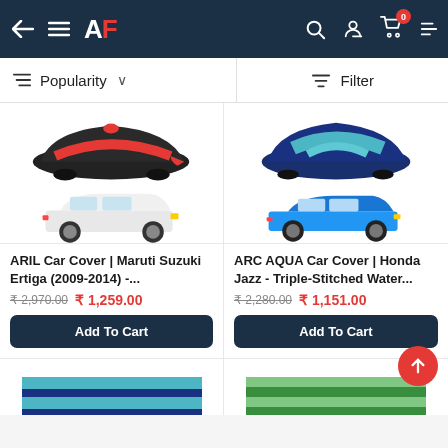AF - Automotive shop header with navigation
Popularity ∨   Filter
[Figure (photo): Black and red car cover draped over a Maruti Suzuki Ertiga, with a smaller image of a white Ertiga car below]
[Figure (photo): Navy blue and teal striped car cover, with a smaller image of a blue Honda Jazz below]
ARIL Car Cover | Maruti Suzuki Ertiga (2009-2014) -...
ARC AQUA Car Cover | Honda Jazz - Triple-Stitched Water...
₹ 2,970.00  ₹ 1,259.00
₹ 2,280.00  ₹ 1,151.00
Add To Cart
Add To Cart
[Figure (photo): Partial view of a striped car cover (bottom of page, left)]
[Figure (photo): Partial view of a striped car cover (bottom of page, right)]